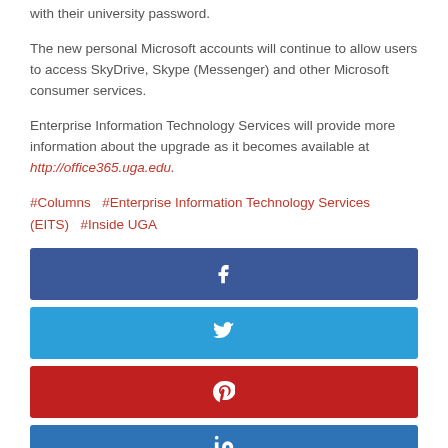with their university password.
The new personal Microsoft accounts will continue to allow users to access SkyDrive, Skype (Messenger) and other Microsoft consumer services.
Enterprise Information Technology Services will provide more information about the upgrade as it becomes available at http://office365.uga.edu.
#Columns  #Enterprise Information Technology Services (EITS)  #Inside UGA
[Figure (infographic): Social media share buttons: Facebook (dark blue), Twitter (light blue), Pinterest (red), LinkedIn (blue)]